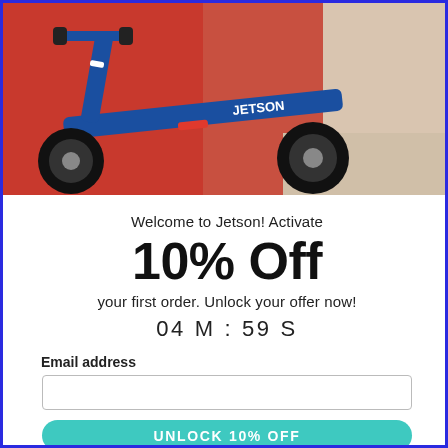[Figure (photo): Blue Jetson electric scooter on a red/orange background, showing the deck, wheel, and handlebars with the Jetson logo visible]
Welcome to Jetson! Activate
10% Off
your first order. Unlock your offer now!
04 M : 59 S
Email address
UNLOCK 10% OFF